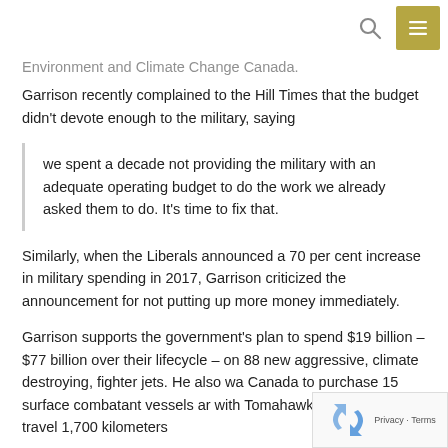[search icon] [menu button]
Environment and Climate Change Canada.
Garrison recently complained to the Hill Times that the budget didn't devote enough to the military, saying
we spent a decade not providing the military with an adequate operating budget to do the work we already asked them to do. It's time to fix that.
Similarly, when the Liberals announced a 70 per cent increase in military spending in 2017, Garrison criticized the announcement for not putting up more money immediately.
Garrison supports the government's plan to spend $19 billion – $77 billion over their lifecycle – on 88 new aggressive, climate destroying, fighter jets. He also wa Canada to purchase 15 surface combatant vessels ar with Tomahawk missiles that can travel 1,700 kilometers